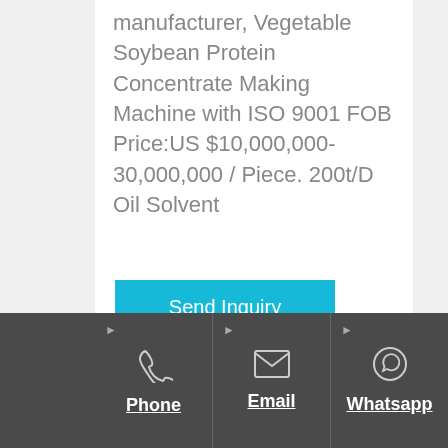manufacturer, Vegetable Soybean Protein Concentrate Making Machine with ISO 9001 FOB Price:US $10,000,000-30,000,000 / Piece. 200t/D Oil Solvent
Send Inquiry
Phone | Email | Whatsapp